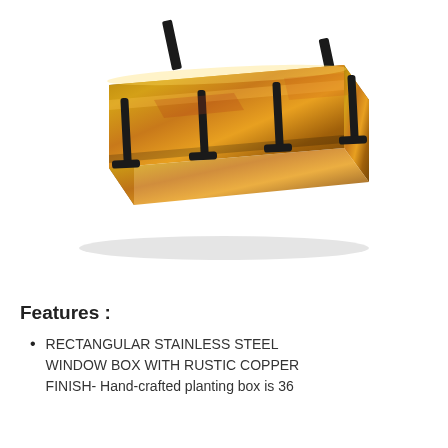[Figure (photo): A rectangular stainless steel window box planter with a rustic copper/golden finish and black metal mounting brackets, shown at an angle on a white background.]
Features :
RECTANGULAR STAINLESS STEEL WINDOW BOX WITH RUSTIC COPPER FINISH- Hand-crafted planting box is 36